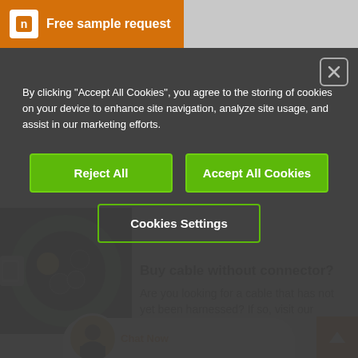[Figure (screenshot): Orange header bar with logo icon and 'Free sample request' text]
[Figure (screenshot): Cookie consent modal overlay on dark background with close button, consent text, Reject All, Accept All Cookies, and Cookies Settings buttons]
By clicking “Accept All Cookies”, you agree to the storing of cookies on your device to enhance site navigation, analyze site usage, and assist in our marketing efforts.
Reject All
Accept All Cookies
Cookies Settings
Buy cable without connector?
Are you looking for a cable that has not yet been harnessed? If so, visit our chain... shop
[Figure (photo): Close-up photo of a green cable end showing twisted internal wires]
Chat Now